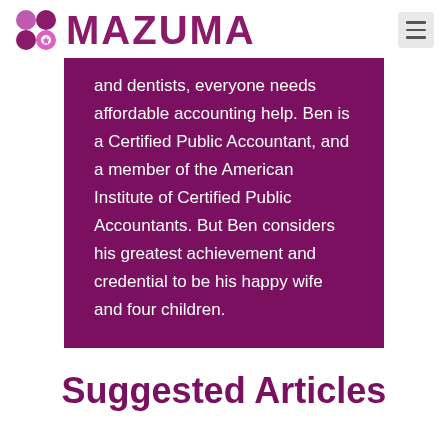MAZUMA
and dentists, everyone needs affordable accounting help. Ben is a Certified Public Accountant, and a member of the American Institute of Certified Public Accountants. But Ben considers his greatest achievement and credential to be his happy wife and four children.
Suggested Articles